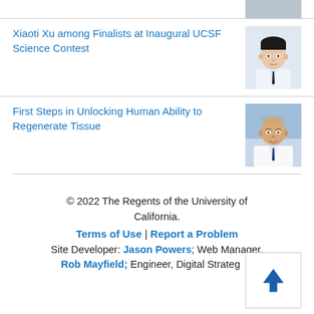[Figure (photo): Partial photo of a person in a suit, visible at top of page (clipped from previous section)]
Xiaoti Xu among Finalists at Inaugural UCSF Science Contest
[Figure (photo): Headshot of Xiaoti Xu, a man with dark hair wearing a white shirt and dark tie]
First Steps in Unlocking Human Ability to Regenerate Tissue
[Figure (photo): Headshot of a man in a white lab coat with a dark tie, smiling]
© 2022 The Regents of the University of California. Terms of Use | Report a Problem Site Developer: Jason Powers; Web Manager, Rob Mayfield; Engineer, Digital Strategies